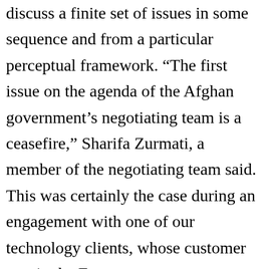discuss a finite set of issues in some sequence and from a particular perceptual framework. “The first issue on the agenda of the Afghan government’s negotiating team is a ceasefire,” Sharifa Zurmati, a member of the negotiating team said. This was certainly the case during an engagement with one of our technology clients, whose customer was in the European auto segment. Whether it’s discussing an employment package with a new employer or closing a deal with an existing supplier you’ll want to read these 5 steps to planning the best negotiation … This meeting